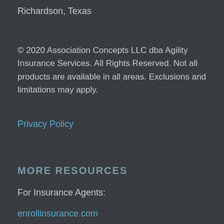Richardson, Texas
© 2020 Association Concepts LLC dba Agility Insurance Services. All Rights Reserved. Not all products are available in all areas. Exclusions and limitations may apply.
Privacy Policy
MORE RESOURCES
For Insurance Agents:
enrollinsurance.com